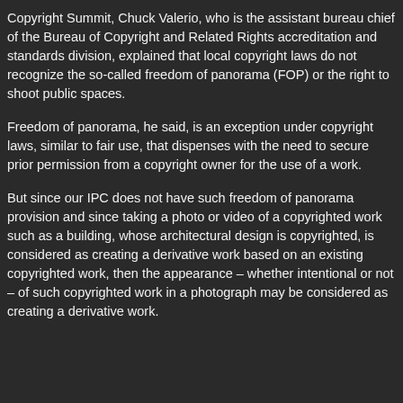Copyright Summit, Chuck Valerio, who is the assistant bureau chief of the Bureau of Copyright and Related Rights accreditation and standards division, explained that local copyright laws do not recognize the so-called freedom of panorama (FOP) or the right to shoot public spaces.
Freedom of panorama, he said, is an exception under copyright laws, similar to fair use, that dispenses with the need to secure prior permission from a copyright owner for the use of a work.
But since our IPC does not have such freedom of panorama provision and since taking a photo or video of a copyrighted work such as a building, whose architectural design is copyrighted, is considered as creating a derivative work based on an existing copyrighted work, then the appearance – whether intentional or not – of such copyrighted work in a photograph may be considered as creating a derivative work.